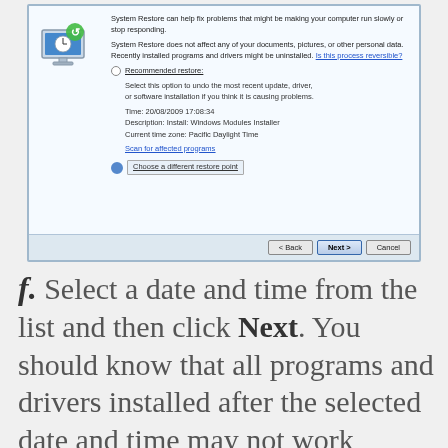[Figure (screenshot): Windows System Restore dialog showing recommended restore point options, with date/time 20/08/2009 17:08:34, description 'Install: Windows Modules Installer', Current time zone: Pacific Daylight Time, and 'Choose a different restore point' radio selected. Back, Next, and Cancel buttons at bottom.]
f. Select a date and time from the list and then click Next. You should know that all programs and drivers installed after the selected date and time may not work properly